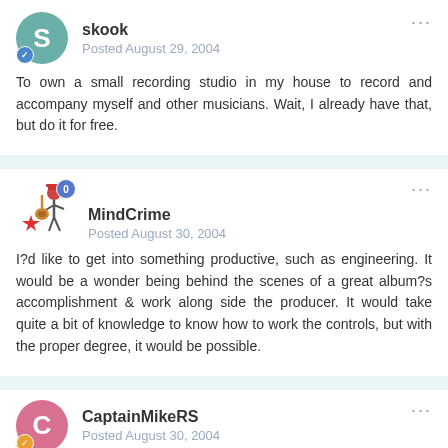skook
Posted August 29, 2004
To own a small recording studio in my house to record and accompany myself and other musicians. Wait, I already have that, but do it for free.
MindCrime
Posted August 30, 2004
I?d like to get into something productive, such as engineering. It would be a wonder being behind the scenes of a great album?s accomplishment & work along side the producer. It would take quite a bit of knowledge to know how to work the controls, but with the proper degree, it would be possible.
CaptainMikeRS
Posted August 30, 2004